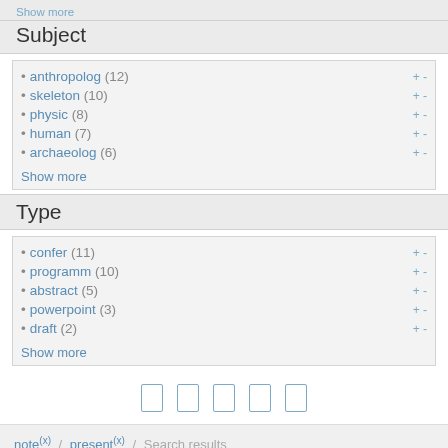Show more
Subject
anthropolog (12)
skeleton (10)
physic (8)
human (7)
archaeolog (6)
Show more
Type
confer (11)
programm (10)
abstract (5)
powerpoint (3)
draft (2)
Show more
note (x) / present (x) / Search results